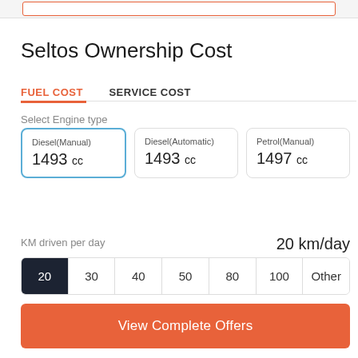Seltos Ownership Cost
FUEL COST   SERVICE COST
Select Engine type
| Engine Type | Displacement |
| --- | --- |
| Diesel(Manual) | 1493 cc |
| Diesel(Automatic) | 1493 cc |
| Petrol(Manual) | 1497 cc |
KM driven per day   20 km/day
| 20 | 30 | 40 | 50 | 80 | 100 | Other |
| --- | --- | --- | --- | --- | --- | --- |
View Complete Offers